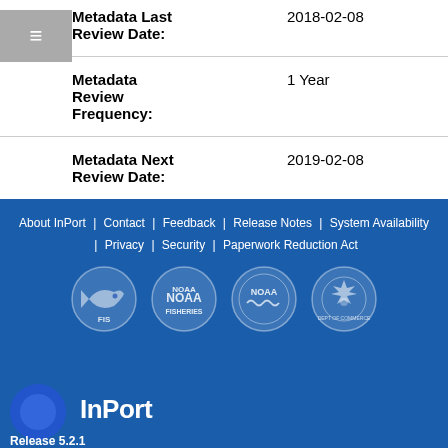| Field | Value |
| --- | --- |
| Metadata Last Review Date: | 2018-02-08 |
| Metadata Review Frequency: | 1 Year |
| Metadata Next Review Date: | 2019-02-08 |
About InPort | Contact | Feedback | Release Notes | System Availability | Privacy | Security | Paperwork Reduction Act
[Figure (logo): FIS fish logo, NOAA Fisheries logo, NOAA circular logo, Department of Commerce circular logo]
[Figure (logo): InPort Release 5.2.1 branding with blue circle]